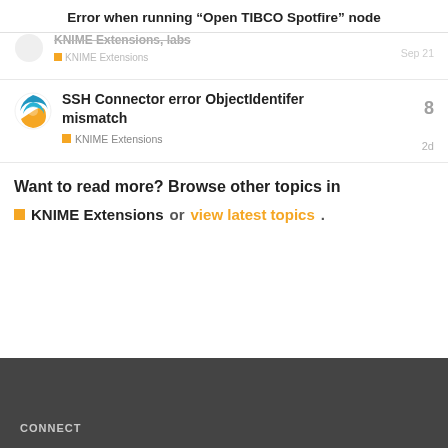Error when running “Open TIBCO Spotfire” node
KNIME Extensions, labs | Sep 21 (partial/clipped row)
SSH Connector error ObjectIdentifer mismatch | KNIME Extensions | 8 replies | 2d
Want to read more? Browse other topics in KNIME Extensions or view latest topics.
CONNECT